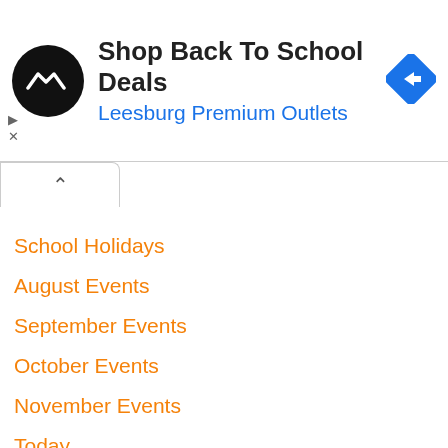[Figure (screenshot): Advertisement banner for Leesburg Premium Outlets with logo, title 'Shop Back To School Deals', subtitle 'Leesburg Premium Outlets', and navigation icon]
School Holidays
August Events
September Events
October Events
November Events
Today
This Weekend
Next Weekend
Art